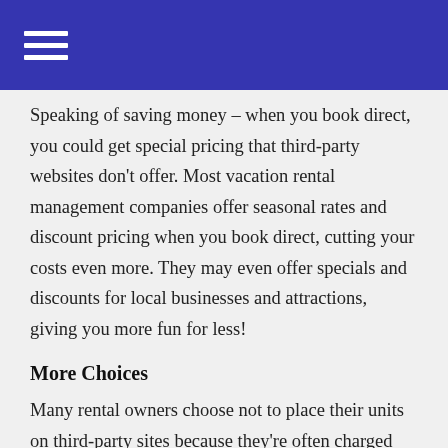Speaking of saving money – when you book direct, you could get special pricing that third-party websites don't offer. Most vacation rental management companies offer seasonal rates and discount pricing when you book direct, cutting your costs even more. They may even offer specials and discounts for local businesses and attractions, giving you more fun for less!
More Choices
Many rental owners choose not to place their units on third-party sites because they're often charged high commission rates for bookings. In fact, the best rentals in an area book easily, so they aren't usually listed on travel sites at all. When you book directly with Northwest Stays and their